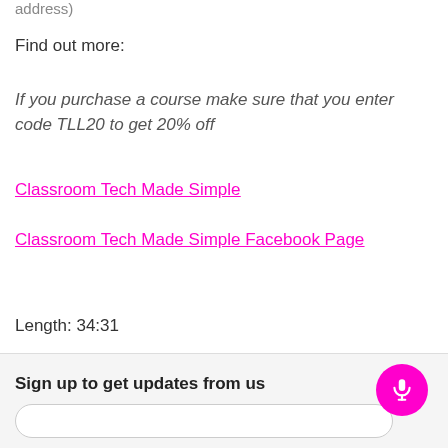address)
Find out more:
If you purchase a course make sure that you enter code TLL20 to get 20% off
Classroom Tech Made Simple
Classroom Tech Made Simple Facebook Page
Length: 34:31
Sign up to get updates from us